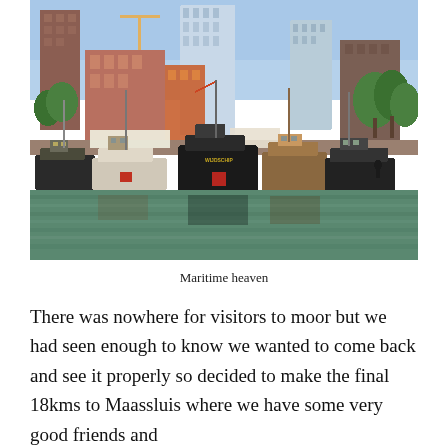[Figure (photo): Photograph of historic boats moored in a harbour with modern high-rise buildings and green trees in the background, Rotterdam-style waterfront scene with green water in the foreground.]
Maritime heaven
There was nowhere for visitors to moor but we had seen enough to know we wanted to come back and see it properly so decided to make the final 18kms to Maassluis where we have some very good friends and